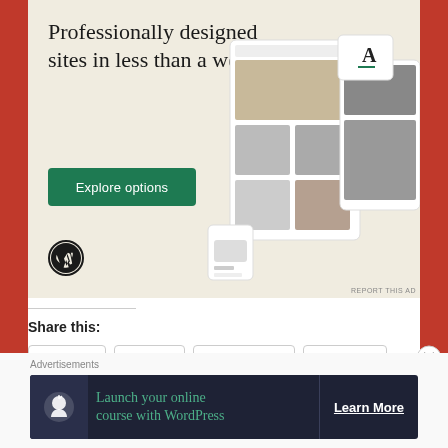[Figure (screenshot): WordPress advertisement banner with beige background. Large serif text reads 'Professionally designed sites in less than a week'. A green button labeled 'Explore options'. WordPress logo at bottom left. Mock website/device screenshots on the right side. 'REPORT THIS AD' text at bottom right.]
REPORT THIS AD
Share this:
Email
Print
Facebook
Twitter
Advertisements
[Figure (screenshot): Dark advertisement banner for WordPress online course. Dark navy background with green text 'Launch your online course with WordPress'. White icon on left. 'Learn More' button on right.]